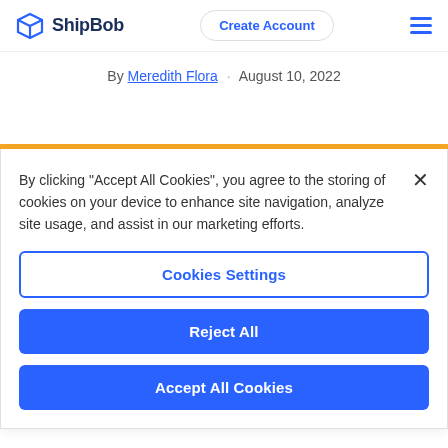ShipBob | Create Account
By Meredith Flora · August 10, 2022
By clicking “Accept All Cookies”, you agree to the storing of cookies on your device to enhance site navigation, analyze site usage, and assist in our marketing efforts.
Cookies Settings
Reject All
Accept All Cookies